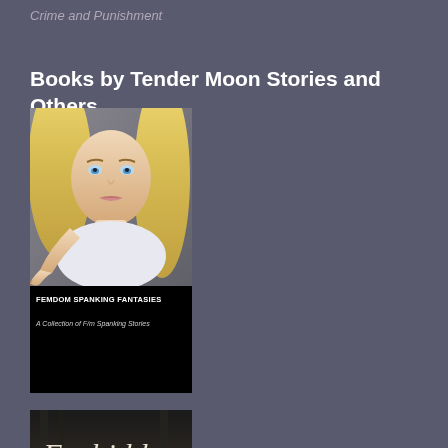Crime and Punishment
Books by Tender Moon Stories and Others
[Figure (photo): Book cover for 'Femdom Spanking Fantasies: A Collection of F/m Spanking Stories' showing a blonde woman pointing at the viewer on the upper half, and black background with white text on the lower half]
[Figure (photo): Partial book cover showing the word 'Forbidden' in italic serif script against a dark background]